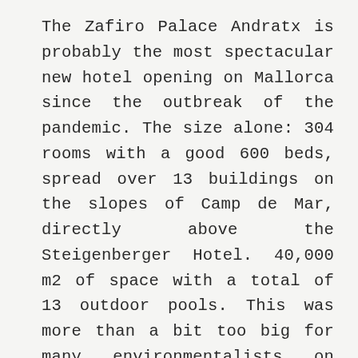The Zafiro Palace Andratx is probably the most spectacular new hotel opening on Mallorca since the outbreak of the pandemic. The size alone: 304 rooms with a good 600 beds, spread over 13 buildings on the slopes of Camp de Mar, directly above the Steigenberger Hotel. 40,000 m2 of space with a total of 13 outdoor pools. This was more than a bit too big for many environmentalists on Mallorca. Already with the start of construction work at the beginning of 2019, the GOB sharply criticised the project. The water consumption of the luxury resort was “enormous”, the whole project “insane”, GOB spokeswoman Margalida Ramis raged at the time. Zafiro defended the project. If